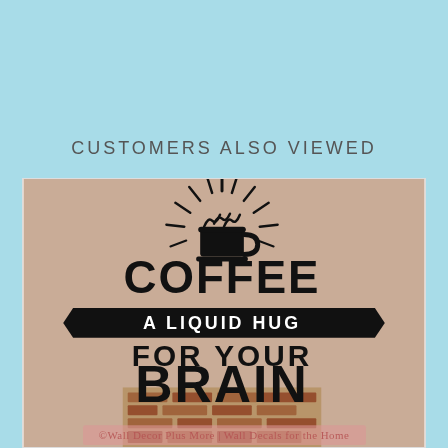CUSTOMERS ALSO VIEWED
[Figure (photo): Wall decal product photo showing a coffee quote on a beige wall above a brick fireplace. The decal reads: COFFEE A LIQUID HUG FOR YOUR BRAIN with a coffee cup graphic with steam rays. Watermark: ©Wall Decor Plus More | Wall Decals for the Home]